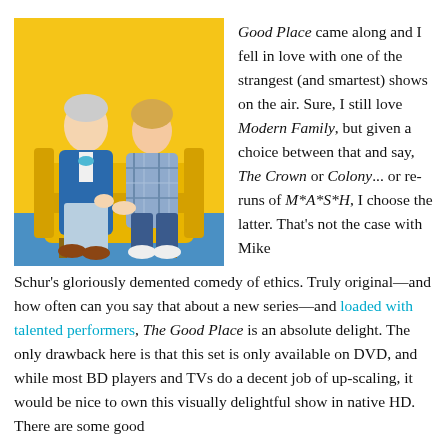[Figure (photo): Two people sitting on a yellow armchair against a yellow background. A tall older man in a blue blazer and bow tie sits next to a younger blonde woman in a plaid shirt.]
Good Place came along and I fell in love with one of the strangest (and smartest) shows on the air. Sure, I still love Modern Family, but given a choice between that and say, The Crown or Colony... or re-runs of M*A*S*H, I choose the latter. That's not the case with Mike Schur's gloriously demented comedy of ethics. Truly original—and how often can you say that about a new series—and loaded with talented performers, The Good Place is an absolute delight. The only drawback here is that this set is only available on DVD, and while most BD players and TVs do a decent job of up-scaling, it would be nice to own this visually delightful show in native HD. There are some good